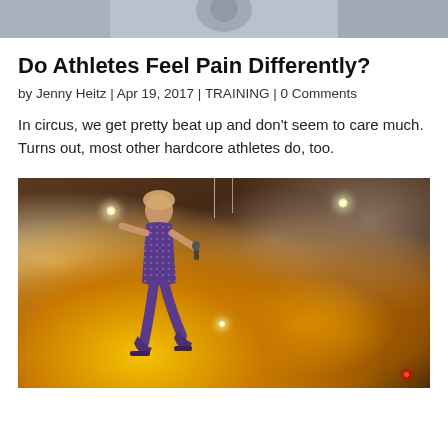[Figure (photo): Top portion of a photo, partially cropped, showing what appears to be a person near a wheel or circular object against a light background.]
Do Athletes Feel Pain Differently?
by Jenny Heitz | Apr 19, 2017 | TRAINING | 0 Comments
In circus, we get pretty beat up and don't seem to care much. Turns out, most other hardcore athletes do, too.
[Figure (photo): A performer (appearing to be Lady Gaga) suspended on wires high above a stage, wearing a sparkly purple costume, holding a microphone with one hand raised, against a dramatic backdrop of yellow/orange stage lighting and smoke effects.]